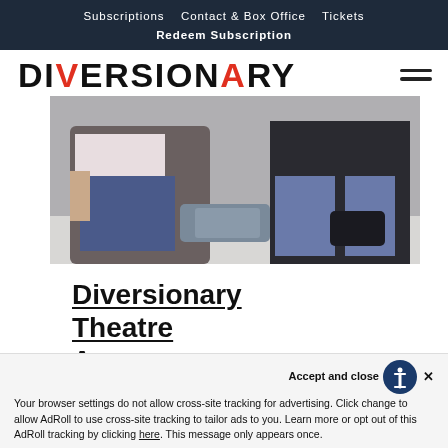Subscriptions   Contact & Box Office   Tickets
Redeem Subscription
DIVERSIONARY
[Figure (photo): Two people sitting on the floor, one in a floral top and jeans, another in dark clothing, with bags between them.]
Diversionary Theatre Announces
CANCELLED the Musical by Kit
Accept and close ×
Your browser settings do not allow cross-site tracking for advertising. Click change to allow AdRoll to use cross-site tracking to tailor ads to you. Learn more or opt out of this AdRoll tracking by clicking here. This message only appears once.